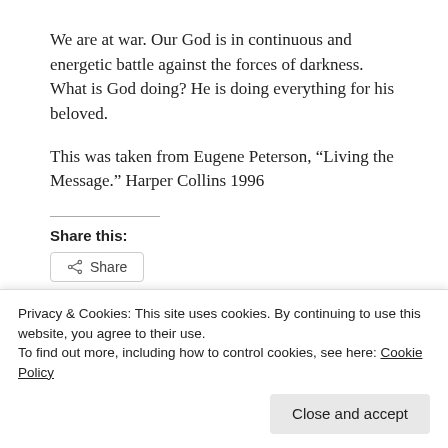We are at war.  Our God is in continuous and energetic battle against the forces of darkness.  What is God doing?  He is doing everything for his beloved.
This was taken from Eugene Peterson, “Living the Message.” Harper Collins 1996
Share this:
[Figure (other): Share button with share icon]
[Figure (other): Like button with star icon and user avatar thumbnail]
Privacy & Cookies: This site uses cookies. By continuing to use this website, you agree to their use.
To find out more, including how to control cookies, see here: Cookie Policy
Close and accept